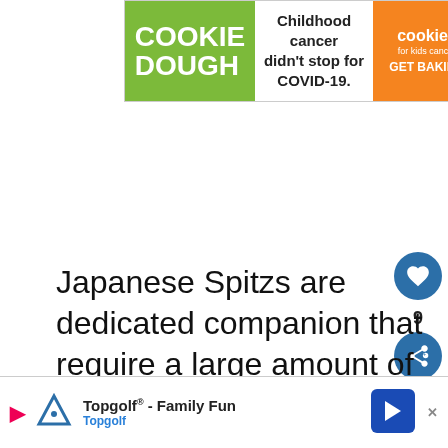[Figure (screenshot): Advertisement banner: green left section with 'COOKIE DOUGH' text, white middle with 'Childhood cancer didn't stop for COVID-19.', orange right with cookies for kids cancer logo and 'GET BAKING']
Japanese Spitzs are dedicated companions that require a large amount of attention and plenty of exercise. For them, a great exercise is to let them run free across the pa... ne
[Figure (screenshot): What's Next widget showing a golden dog photo and text 'Miniature Labrador:...']
[Figure (screenshot): Bottom advertisement banner: Topgolf - Family Fun, Topgolf with arrow icon]